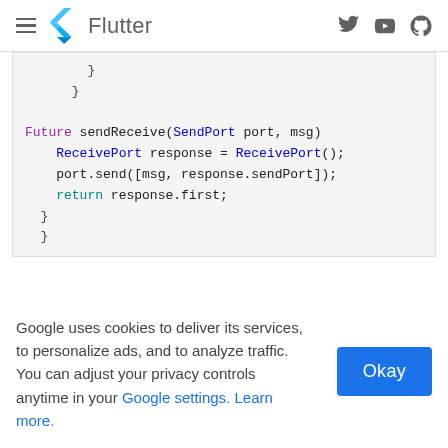Flutter
[Figure (screenshot): Partial code block showing Dart code with closing braces, then a Future sendReceive function with ReceivePort, port.send, and return response.first statements]
Google uses cookies to deliver its services, to personalize ads, and to analyze traffic. You can adjust your privacy controls anytime in your Google settings. Learn more.